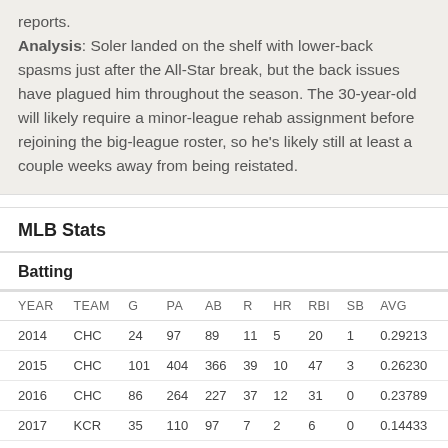reports. Analysis: Soler landed on the shelf with lower-back spasms just after the All-Star break, but the back issues have plagued him throughout the season. The 30-year-old will likely require a minor-league rehab assignment before rejoining the big-league roster, so he's likely still at least a couple weeks away from being reistated.
MLB Stats
Batting
| YEAR | TEAM | G | PA | AB | R | HR | RBI | SB | AVG |
| --- | --- | --- | --- | --- | --- | --- | --- | --- | --- |
| 2014 | CHC | 24 | 97 | 89 | 11 | 5 | 20 | 1 | 0.29213 |
| 2015 | CHC | 101 | 404 | 366 | 39 | 10 | 47 | 3 | 0.26230 |
| 2016 | CHC | 86 | 264 | 227 | 37 | 12 | 31 | 0 | 0.23789 |
| 2017 | KCR | 35 | 110 | 97 | 7 | 2 | 6 | 0 | 0.14433 |
| 2018 | KCR | 61 | 257 | 223 | 27 | 9 | 28 | 3 | 0.26457 |